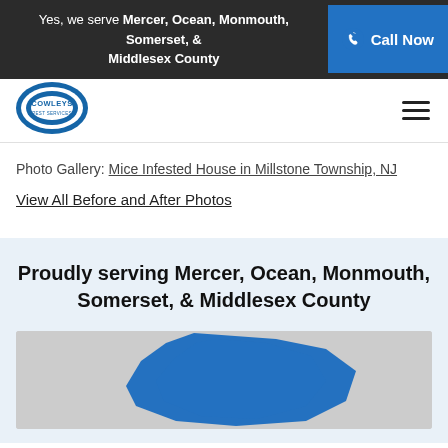Yes, we serve Mercer, Ocean, Monmouth, Somerset, & Middlesex County
[Figure (logo): Cowleys Pest Services logo — circular blue and white emblem with text]
Photo Gallery: Mice Infested House in Millstone Township, NJ
View All Before and After Photos
Proudly serving Mercer, Ocean, Monmouth, Somerset, & Middlesex County
[Figure (map): Map of New Jersey counties served, with highlighted counties shown in blue against a gray background]